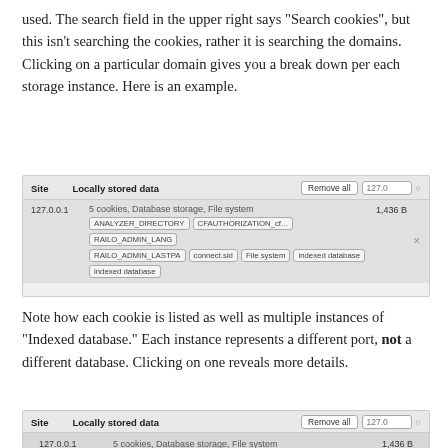used. The search field in the upper right says "Search cookies", but this isn't searching the cookies, rather it is searching the domains. Clicking on a particular domain gives you a break down per each storage instance. Here is an example.
[Figure (screenshot): Browser cookie storage screenshot showing site 127.0.0.1 with 5 cookies, Database storage, File system and size 1,436 B, with tags: ANALYZER_DIRECTORY, CFAUTHORIZATION_cf..., RAILO_ADMIN_LANG, RAILO_ADMIN_LASTPA, connect.sid, File system, indexed database, indexed database]
Note how each cookie is listed as well as multiple instances of "Indexed database." Each instance represents a different port, not a different database. Clicking on one reveals more details.
[Figure (screenshot): Browser cookie storage screenshot (partial) showing site 127.0.0.1 with 5 cookies, Database storage, File system and size 1,436 B]